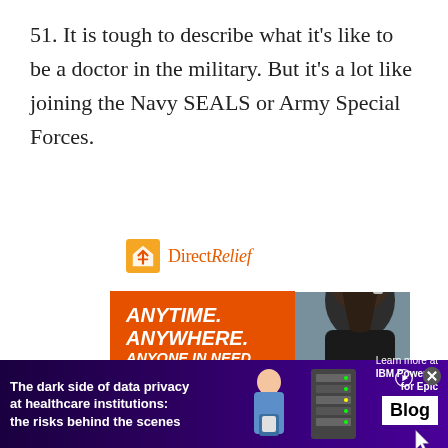51. It is tough to describe what it's like to be a doctor in the military. But it's a lot like joining the Navy SEALS or Army Special Forces.
[Figure (photo): Direct Relief advertisement showing a person with dark hair in a black shirt, viewed from behind, looking over a disaster scene. The ad shows the Direct Relief logo (orange box with white bird/cross icon and italic text 'DirectRelief') at the top on a white background, with an orange banner reading 'ANYTIME. ANYWHERE. ANYONE IN NEED.' in bold italic white text. The Direct Relief logo also appears on the bottom right on the person's shirt.]
[Figure (infographic): Banner advertisement with dark purple/indigo gradient background. Left text reads 'The dark side of data privacy at healthcare institutions: the risks behind the scenes' in white bold text. Center shows a person holding a tablet and server rack graphics. Right side shows IBM Power10 for Epic branding with 'Learn more at IBM Power10 for Epic' text, a 'Blog' button in white, and close/play buttons.]